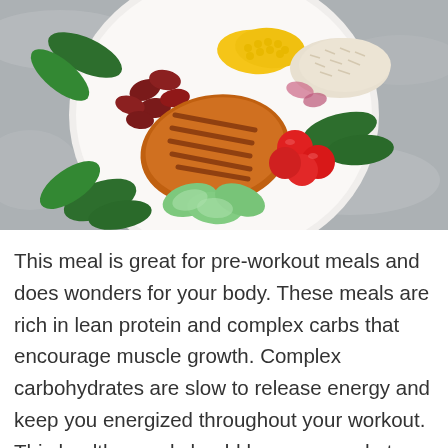[Figure (photo): Overhead view of a healthy meal bowl on a gray stone surface, containing sliced grilled chicken, kidney beans, corn, rice or grains, cherry tomatoes, sliced cucumber/avocado, and fresh spinach leaves on a white plate.]
This meal is great for pre-workout meals and does wonders for your body. These meals are rich in lean protein and complex carbs that encourage muscle growth. Complex carbohydrates are slow to release energy and keep you energized throughout your workout. This healthy meal should be consumed at least 2 hours before you go to the gym.